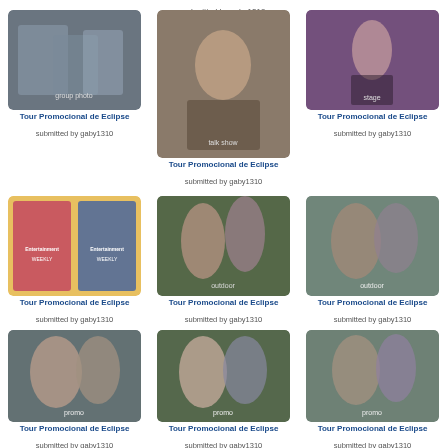submitted by gaby1310
[Figure (photo): Group photo - Twilight Eclipse cast promotional tour]
Tour Promocional de Eclipse
submitted by gaby1310
[Figure (photo): Woman in black dress at talk show - Eclipse promo tour]
Tour Promocional de Eclipse
submitted by gaby1310
[Figure (photo): Woman in short black dress on stage - Eclipse promo tour]
Tour Promocional de Eclipse
submitted by gaby1310
[Figure (photo): Entertainment Weekly magazine covers - Twilight best movie]
Tour Promocional de Eclipse
submitted by gaby1310
[Figure (photo): Two actors in outdoor setting - Eclipse promo]
Tour Promocional de Eclipse
submitted by gaby1310
[Figure (photo): Two actors outdoors - Eclipse promo]
Tour Promocional de Eclipse
submitted by gaby1310
[Figure (photo): Two actors outdoors smiling - Eclipse promo]
Tour Promocional de Eclipse
submitted by gaby1310
[Figure (photo): Two actors outdoors - Eclipse promo]
Tour Promocional de Eclipse
submitted by gaby1310
[Figure (photo): Two actors outdoors trees background - Eclipse promo]
Tour Promocional de Eclipse
submitted by gaby1310